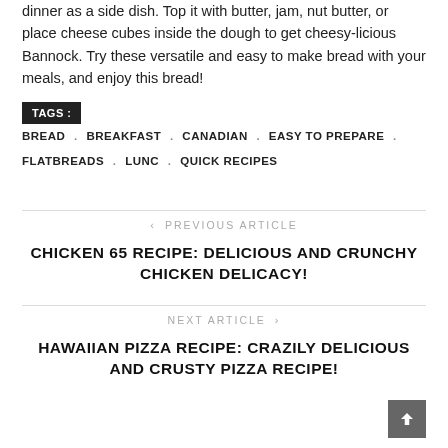dinner as a side dish. Top it with butter, jam, nut butter, or place cheese cubes inside the dough to get cheesy-licious Bannock. Try these versatile and easy to make bread with your meals, and enjoy this bread!
TAGS : BREAD . BREAKFAST . CANADIAN . EASY TO PREPARE . FLATBREADS . LUNC . QUICK RECIPES
‹ PREVIOUS ARTICLE
CHICKEN 65 RECIPE: DELICIOUS AND CRUNCHY CHICKEN DELICACY!
NEXT ARTICLE ›
HAWAIIAN PIZZA RECIPE: CRAZILY DELICIOUS AND CRUSTY PIZZA RECIPE!